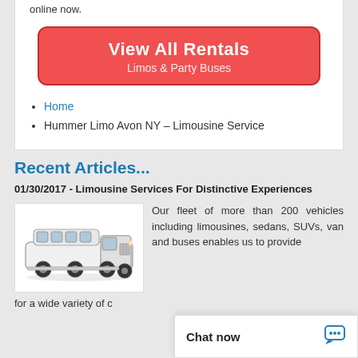online now.
[Figure (other): Red rounded button with text 'View All Rentals' and subtitle 'Limos & Party Buses']
Home
Hummer Limo Avon NY – Limousine Service
Recent Articles...
01/30/2017 - Limousine Services For Distinctive Experiences
[Figure (photo): White Hummer stretch limousine photo]
Our fleet of more than 200 vehicles including limousines, sedans, SUVs, van and buses enables us to provide
for a wide variety of c
Chat now